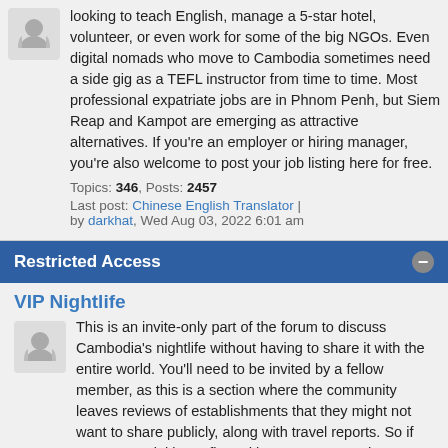looking to teach English, manage a 5-star hotel, volunteer, or even work for some of the big NGOs. Even digital nomads who move to Cambodia sometimes need a side gig as a TEFL instructor from time to time. Most professional expatriate jobs are in Phnom Penh, but Siem Reap and Kampot are emerging as attractive alternatives. If you're an employer or hiring manager, you're also welcome to post your job listing here for free.
Topics: 346, Posts: 2457
Last post: Chinese English Translator | by darkhat, Wed Aug 03, 2022 6:01 am
Restricted Access
VIP Nightlife
This is an invite-only part of the forum to discuss Cambodia's nightlife without having to share it with the entire world. You'll need to be invited by a fellow member, as this is a section where the community leaves reviews of establishments that they might not want to share publicly, along with travel reports. So if you're a social butterfly and know someone who's already in here, ask your buddy to grant you access to this section!